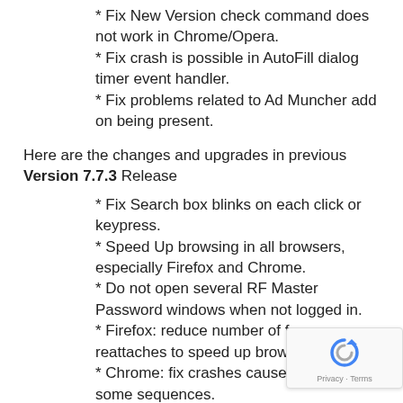* Fix New Version check command does not work in Chrome/Opera.
* Fix crash is possible in AutoFill dialog timer event handler.
* Fix problems related to Ad Muncher add on being present.
Here are the changes and upgrades in previous Version 7.7.3 Release
* Fix Search box blinks on each click or keypress.
* Speed Up browsing in all browsers, especially Firefox and Chrome.
* Do not open several RF Master Password windows when not logged in.
* Firefox: reduce number of frame reattaches to speed up browsing.
* Chrome: fix crashes caused by RF in some sequences.